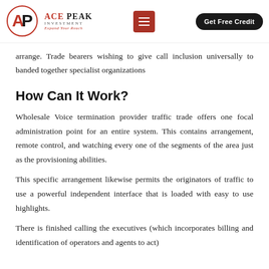ACE PEAK INVESTMENT — Expand Your Reach | Menu | Get Free Credit
arrange. Trade bearers wishing to give call inclusion universally to banded together specialist organizations
How Can It Work?
Wholesale Voice termination provider traffic trade offers one focal administration point for an entire system. This contains arrangement, remote control, and watching every one of the segments of the area just as the provisioning abilities.
This specific arrangement likewise permits the originators of traffic to use a powerful independent interface that is loaded with easy to use highlights.
There is finished calling the executives (which incorporates billing and identification of operators and agents to act)